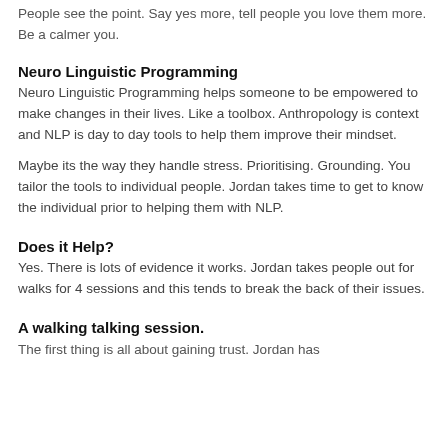People see the point. Say yes more, tell people you love them more. Be a calmer you.
Neuro Linguistic Programming
Neuro Linguistic Programming helps someone to be empowered to make changes in their lives. Like a toolbox. Anthropology is context and NLP is day to day tools to help them improve their mindset.
Maybe its the way they handle stress. Prioritising. Grounding. You tailor the tools to individual people. Jordan takes time to get to know the individual prior to helping them with NLP.
Does it Help?
Yes. There is lots of evidence it works. Jordan takes people out for walks for 4 sessions and this tends to break the back of their issues.
A walking talking session.
The first thing is all about gaining trust. Jordan has